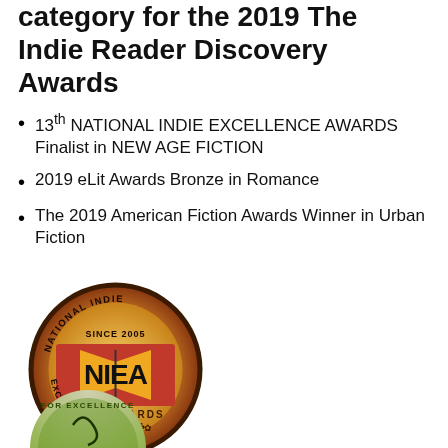category for the 2019 The Indie Reader Discovery Awards
13th NATIONAL INDIE EXCELLENCE AWARDS Finalist in NEW AGE FICTION
2019 eLit Awards Bronze in Romance
The 2019 American Fiction Awards Winner in Urban Fiction
[Figure (logo): National Indie Excellence Book Awards circular badge/seal with NIEA text, gold and red color scheme, since 2005]
[Figure (logo): Second award badge, green and silver, partially visible at bottom of page]